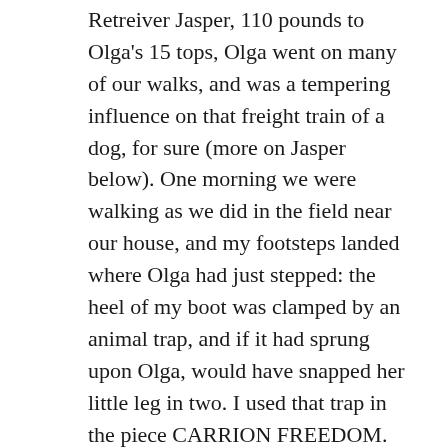Retreiver Jasper, 110 pounds to Olga's 15 tops, Olga went on many of our walks, and was a tempering influence on that freight train of a dog, for sure (more on Jasper below). One morning we were walking as we did in the field near our house, and my footsteps landed where Olga had just stepped: the heel of my boot was clamped by an animal trap, and if it had sprung upon Olga, would have snapped her little leg in two. I used that trap in the piece CARRION FREEDOM.
Crossing the country to pick up a vintage trailer, walking Olga outside a lot full of large concrete statues of dogs, lions, elephants and other animals, Olga stopped and growled as menacingly as she could at them, once she noticed. Her heart was beginning to fail, and she had ascites: fluid buildup on her chest.
A few months later, during the blizzard of March 2004